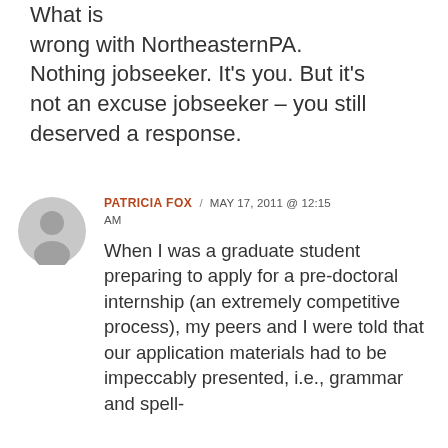What is wrong with NortheasternPA. Nothing jobseeker. It's you. But it's not an excuse jobseeker – you still deserved a response.
PATRICIA FOX / MAY 17, 2011 @ 12:15 AM
When I was a graduate student preparing to apply for a pre-doctoral internship (an extremely competitive process), my peers and I were told that our application materials had to be impeccably presented, i.e., grammar and spell-checked, and to...